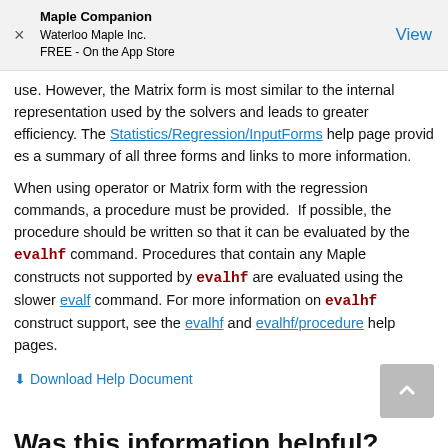Maple Companion
Waterloo Maple Inc.
FREE - On the App Store
View
use. However, the Matrix form is most similar to the internal representation used by the solvers and leads to greater efficiency. The Statistics/Regression/InputForms help page provides a summary of all three forms and links to more information.
When using operator or Matrix form with the regression commands, a procedure must be provided. If possible, the procedure should be written so that it can be evaluated by the evalhf command. Procedures that contain any Maple constructs not supported by evalhf are evaluated using the slower evalf command. For more information on evalhf construct support, see the evalhf and evalhf/procedure help pages.
Download Help Document
Was this information helpful?